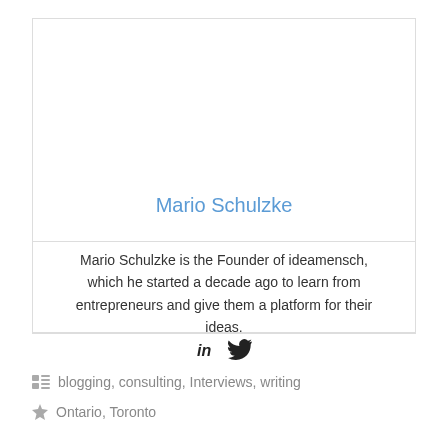Mario Schulzke
Mario Schulzke is the Founder of ideamensch, which he started a decade ago to learn from entrepreneurs and give them a platform for their ideas.
[Figure (other): Social media icons: LinkedIn (in) and Twitter (bird icon)]
blogging, consulting, Interviews, writing
Ontario, Toronto